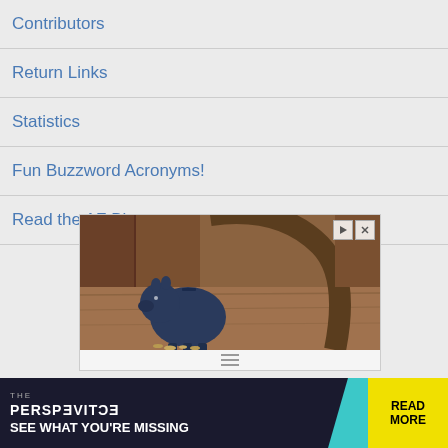Contributors
Return Links
Statistics
Fun Buzzword Acronyms!
Read the AF Blog
[Figure (photo): Advertisement image showing a dark blue piggy bank with coins scattered on a wooden table, with a wooden chair in the background. Contains ad control buttons (play and close).]
[Figure (infographic): Banner advertisement reading 'THE PERSPECTIVE / SEE WHAT YOU'RE MISSING' with a teal accent and yellow 'READ MORE' button on dark background.]